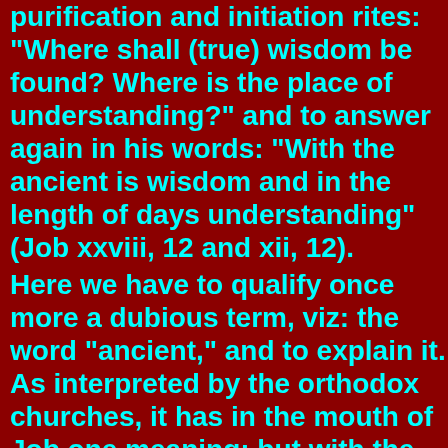purification and initiation rites: "Where shall (true) wisdom be found? Where is the place of understanding?" and to answer again in his words: "With the ancient is wisdom and in the length of days understanding" (Job xxviii, 12 and xii, 12).
Here we have to qualify once more a dubious term, viz: the word "ancient," and to explain it. As interpreted by the orthodox churches, it has in the mouth of Job one meaning; but with the Kabalist, quite